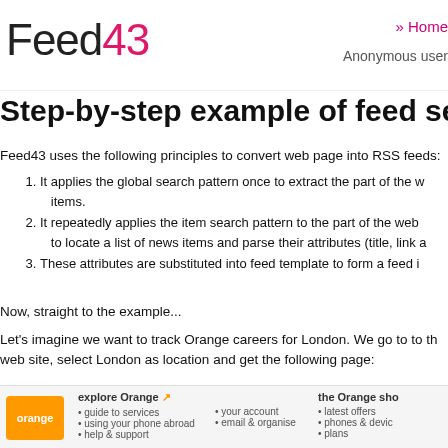Feed43 | » Home | Anonymous user
Step-by-step example of feed setup
Feed43 uses the following principles to convert web page into RSS feeds:
1. It applies the global search pattern once to extract the part of the web page that contains news items.
2. It repeatedly applies the item search pattern to the part of the web page to locate a list of news items and parse their attributes (title, link and description).
3. These attributes are substituted into feed template to form a feed item.
Now, straight to the example...
Let's imagine we want to track Orange careers for London. We go to to the web site, select London as location and get the following page:
[Figure (screenshot): Screenshot of the Orange website showing navigation with 'explore Orange', 'the Orange shop', 'your account', 'email & organise', 'latest offers', 'phones & devices', 'plans', 'guide to services', 'using your phone abroad', 'help & support']